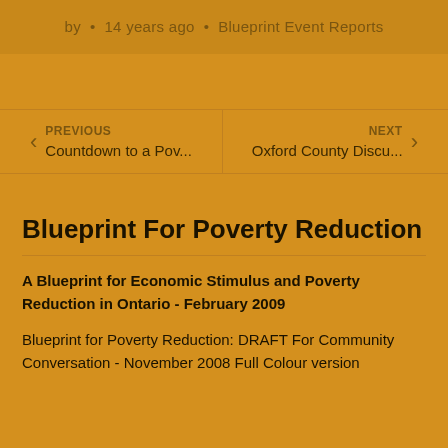by · 14 years ago · Blueprint Event Reports
PREVIOUS
Countdown to a Pov...
NEXT
Oxford County Discu...
Blueprint For Poverty Reduction
A Blueprint for Economic Stimulus and Poverty Reduction in Ontario - February 2009
Blueprint for Poverty Reduction: DRAFT For Community Conversation - November 2008 Full Colour version